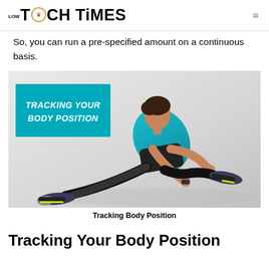LOW TECH TIMES
So, you can run a pre-specified amount on a continuous basis.
[Figure (photo): Athlete in teal tank top stretching/lunging on the ground checking a fitness tracker on their wrist, with a teal banner overlay reading TRACKING YOUR BODY POSITION]
Tracking Body Position
Tracking Your Body Position